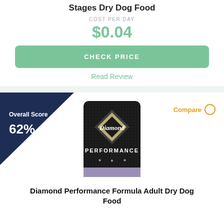Stages Dry Dog Food
COST PER DAY
$0.04
CHECK PRICE
Read Review
[Figure (photo): Diamond Performance dog food bag product photo]
Overall Score 62%
Compare
Diamond Performance Formula Adult Dry Dog Food